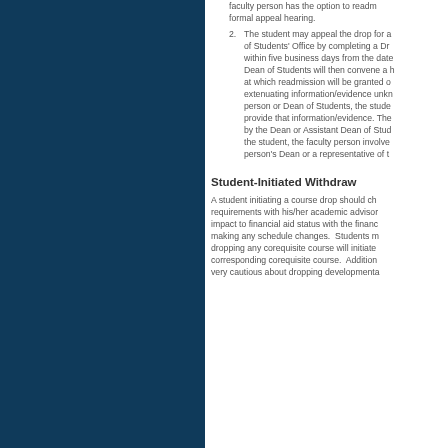faculty person has the option to readm formal appeal hearing.
2. The student may appeal the drop for a of Students' Office by completing a Dr within five business days from the date Dean of Students will then convene a h at which readmission will be granted o extenuating information/evidence unkn person or Dean of Students, the stude provide that information/evidence. The by the Dean or Assistant Dean of Stud the student, the faculty person involve person's Dean or a representative of t
Student-Initiated Withdraw
A student initiating a course drop should ch requirements with his/her academic advisor impact to financial aid status with the financ making any schedule changes. Students m dropping any corequisite course will initiate corresponding corequisite course. Addition very cautious about dropping developmenta